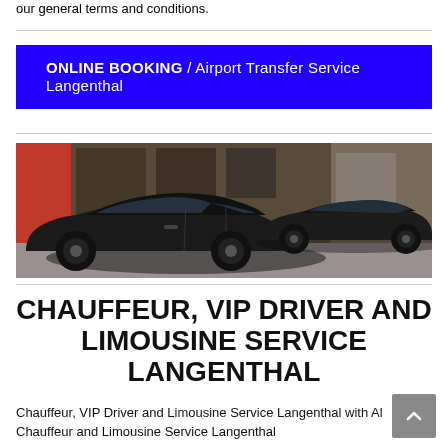our general terms and conditions.
ONLINE BOOKING / Airport Transfer Service Langenthal
[Figure (photo): Two black luxury sedan cars parked in front of a building with red architectural elements. The cars appear to be high-end chauffeur/limousine vehicles.]
CHAUFFEUR, VIP DRIVER AND LIMOUSINE SERVICE LANGENTHAL
Chauffeur, VIP Driver and Limousine Service Langenthal with Al Chauffeur and Limousine Service Langenthal